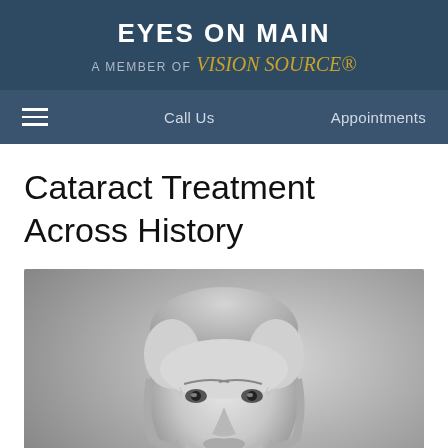EYES ON MAIN — A MEMBER OF Vision Source
Call Us   Appointments
Cataract Treatment Across History
[Figure (photo): Black and white portrait photograph of an elderly bearded man, cropped to show head and upper shoulders, slightly looking upward.]